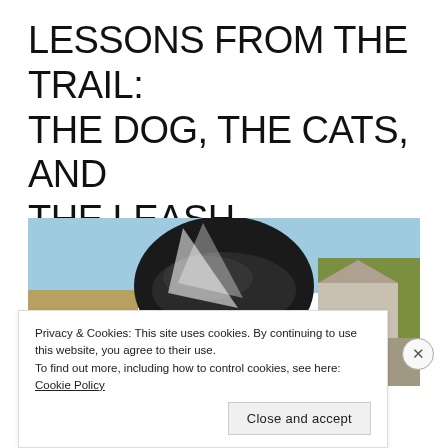LESSONS FROM THE TRAIL: THE DOG, THE CATS, AND THE LEASH.
[Figure (photo): Close-up photo of a motorcyclist wearing a black helmet (Shoei brand visible) riding on a road. A house and trees are visible in the background under a blue sky.]
Privacy & Cookies: This site uses cookies. By continuing to use this website, you agree to their use.
To find out more, including how to control cookies, see here: Cookie Policy
Close and accept